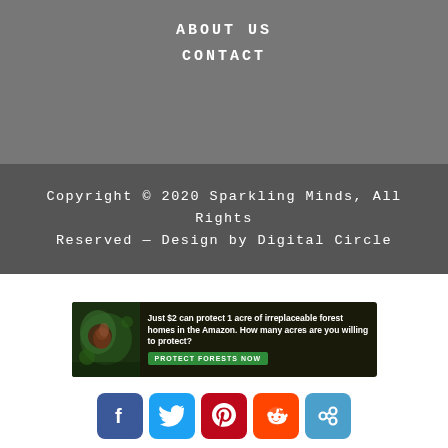ABOUT US
CONTACT
Copyright © 2020 Sparkling Minds, All Rights Reserved — Design by Digital Circle
[Figure (infographic): Advertisement banner: Just $2 can protect 1 acre of irreplaceable forest homes in the Amazon. How many acres are you willing to protect? PROTECT FORESTS NOW]
[Figure (infographic): Social media icons: Facebook, Twitter, Pinterest, Reddit, and a chain-link/share icon]